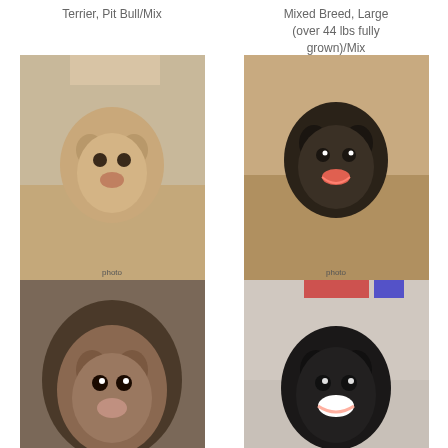Terrier, Pit Bull/Mix
Mixed Breed, Large (over 44 lbs fully grown)/Mix
3 years 8 months
[Figure (photo): Photo of Peanut Butter, a dog]
Peanut Butter
50869669
Dog
Female/Spayed
Cur, Black-Mouth/Terrier, American Pit Bull
3 years
[Figure (photo): Photo of Pickles, a dog]
Pickles
50771992
Dog
Female/Spayed
Terrier, Pit Bull/Mix
2 years
[Figure (photo): Photo of Princess Consuela, a dog]
Princess Consuela
50848231
[Figure (photo): Photo of Ripley, a dog]
Ripley
50833103
Dog